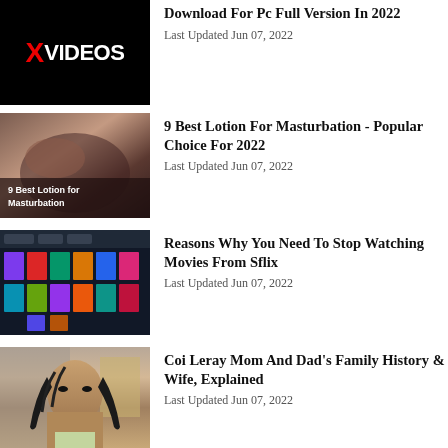[Figure (screenshot): XVideos logo - black background with red X and white VIDEOS text]
Download For Pc Full Version In 2022
Last Updated Jun 07, 2022
[Figure (photo): 9 Best Lotion for Masturbation - article thumbnail image]
9 Best Lotion For Masturbation - Popular Choice For 2022
Last Updated Jun 07, 2022
[Figure (screenshot): Movie streaming website screenshot showing movie posters grid]
Reasons Why You Need To Stop Watching Movies From Sflix
Last Updated Jun 07, 2022
[Figure (photo): Photo of a young woman with braided hair]
Coi Leray Mom And Dad's Family History & Wife, Explained
Last Updated Jun 07, 2022